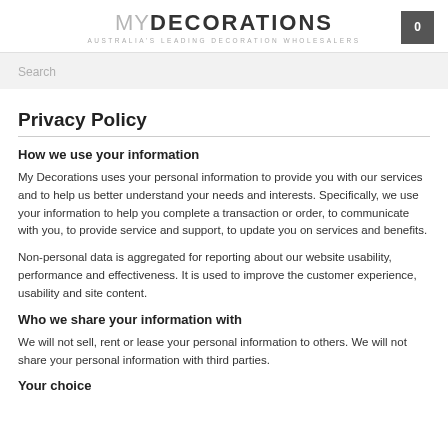MYDECORATIONS — AUSTRALIA'S LEADING DECORATION WHOLESALERS
Privacy Policy
How we use your information
My Decorations uses your personal information to provide you with our services and to help us better understand your needs and interests. Specifically, we use your information to help you complete a transaction or order, to communicate with you, to provide service and support, to update you on services and benefits.
Non-personal data is aggregated for reporting about our website usability, performance and effectiveness. It is used to improve the customer experience, usability and site content.
Who we share your information with
We will not sell, rent or lease your personal information to others. We will not share your personal information with third parties.
Your choice